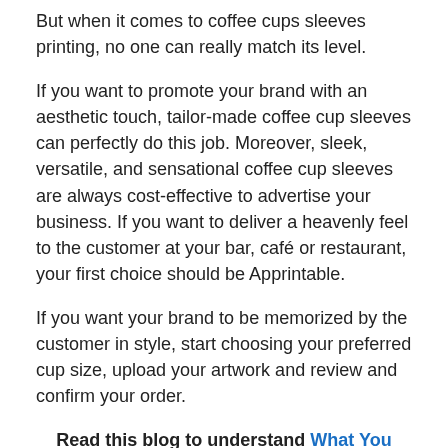But when it comes to coffee cups sleeves printing, no one can really match its level.
If you want to promote your brand with an aesthetic touch, tailor-made coffee cup sleeves can perfectly do this job. Moreover, sleek, versatile, and sensational coffee cup sleeves are always cost-effective to advertise your business. If you want to deliver a heavenly feel to the customer at your bar, café or restaurant, your first choice should be Apprintable.
If you want your brand to be memorized by the customer in style, start choosing your preferred cup size, upload your artwork and review and confirm your order.
Read this blog to understand What You Should Eat To Promote Hair Growth
Why are customized coffee cups